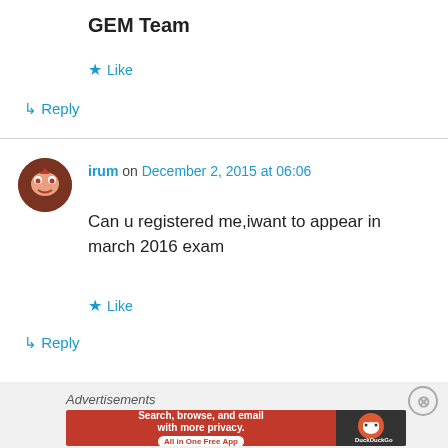GEM Team
★ Like
↳ Reply
irum on December 2, 2015 at 06:06
Can u registered me,iwant to appear in march 2016 exam
★ Like
↳ Reply
Advertisements
[Figure (screenshot): DuckDuckGo advertisement banner with orange background, text 'Search, browse, and email with more privacy. All in One Free App' and DuckDuckGo logo on dark section]